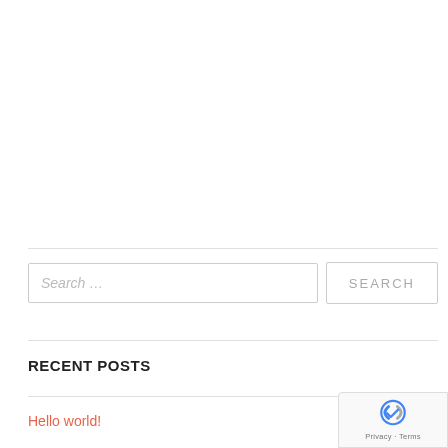Search ...
SEARCH
RECENT POSTS
Hello world!
[Figure (logo): reCAPTCHA badge with Google logo and Privacy - Terms text]